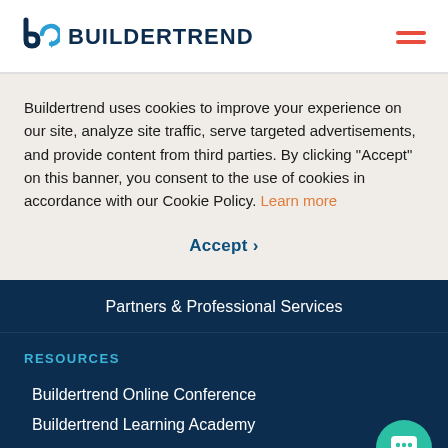[Figure (logo): Buildertrend logo with icon and wordmark]
Buildertrend uses cookies to improve your experience on our site, analyze site traffic, serve targeted advertisements, and provide content from third parties. By clicking “Accept” on this banner, you consent to the use of cookies in accordance with our Cookie Policy. Learn more
Accept ›
Partners & Professional Services
RESOURCES
Buildertrend Online Conference
Buildertrend Learning Academy
Support & training
Blog